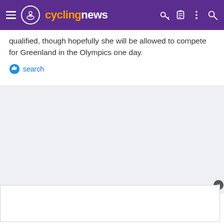cyclingnews
qualified, though hopefully she will be allowed to compete for Greenland in the Olympics one day.
search
[Figure (other): Gray placeholder/advertisement area]
[Figure (other): White advertisement box with close button]